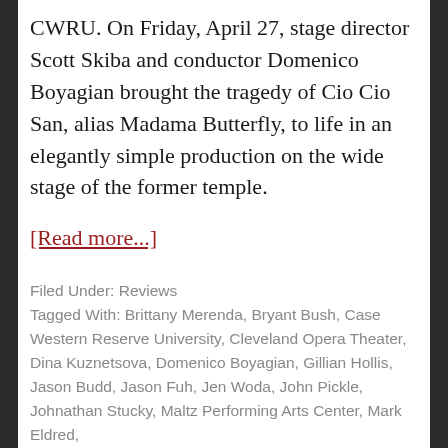CWRU. On Friday, April 27, stage director Scott Skiba and conductor Domenico Boyagian brought the tragedy of Cio Cio San, alias Madama Butterfly, to life in an elegantly simple production on the wide stage of the former temple.
[Read more...]
Filed Under: Reviews
Tagged With: Brittany Merenda, Bryant Bush, Case Western Reserve University, Cleveland Opera Theater, Dina Kuznetsova, Domenico Boyagian, Gillian Hollis, Jason Budd, Jason Fuh, Jen Woda, John Pickle, Johnathan Stucky, Maltz Performing Arts Center, Mark Eldred,